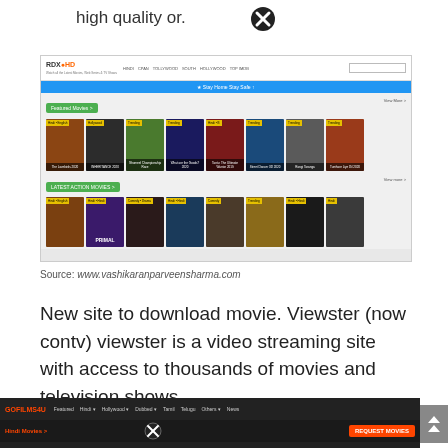high quality or.
[Figure (screenshot): Screenshot of RDXHD movie download website showing featured movies grid with Bollywood and Hollywood film thumbnails]
Source: www.vashikaranparveensharma.com
New site to download movie. Viewster (now contv) viewster is a video streaming site with access to thousands of movies and television shows.
[Figure (screenshot): Screenshot of GOFILMS4U website header with navigation menu showing Featured, Hindi, Hollywood, Dubbed, Tamil, Telugu, Others, News and a Request Movies button]